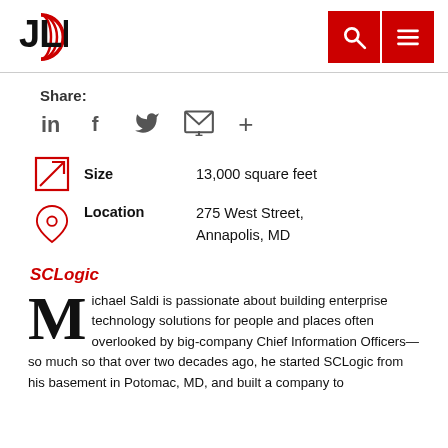[Figure (logo): JLL logo with red circular icon and bold JLL text, plus red search and menu buttons in header]
Share:
[Figure (infographic): Social share icons: LinkedIn, Facebook, Twitter, Email, More]
Size
13,000 square feet
Location
275 West Street, Annapolis, MD
SCLogic
Michael Saldi is passionate about building enterprise technology solutions for people and places often overlooked by big-company Chief Information Officers—so much so that over two decades ago, he started SCLogic from his basement in Potomac, MD, and built a company to